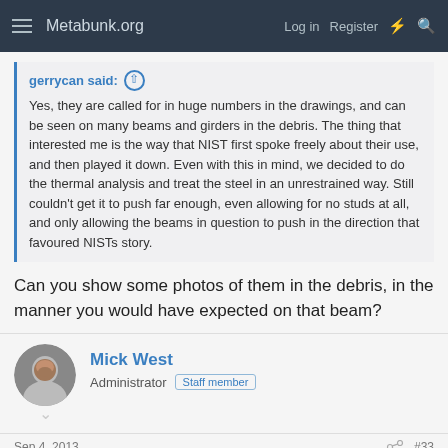Metabunk.org  Log in  Register
gerrycan said:
Yes, they are called for in huge numbers in the drawings, and can be seen on many beams and girders in the debris. The thing that interested me is the way that NIST first spoke freely about their use, and then played it down. Even with this in mind, we decided to do the thermal analysis and treat the steel in an unrestrained way. Still couldn't get it to push far enough, even allowing for no studs at all, and only allowing the beams in question to push in the direction that favoured NISTs story.
Can you show some photos of them in the debris, in the manner you would have expected on that beam?
Mick West
Administrator  Staff member
Sep 4, 2013  #33